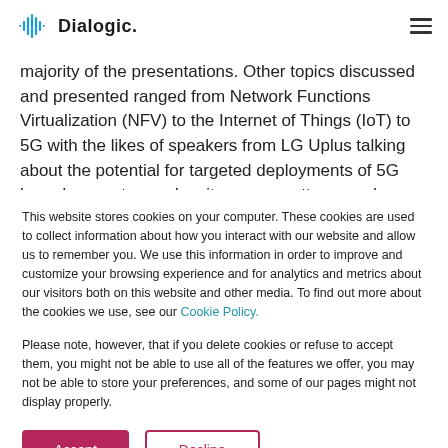Dialogic
majority of the presentations. Other topics discussed and presented ranged from Network Functions Virtualization (NFV) to the Internet of Things (IoT) to 5G with the likes of speakers from LG Uplus talking about the potential for targeted deployments of 5G based on customer density, usage patterns and service characteristics. In addition to some of
This website stores cookies on your computer. These cookies are used to collect information about how you interact with our website and allow us to remember you. We use this information in order to improve and customize your browsing experience and for analytics and metrics about our visitors both on this website and other media. To find out more about the cookies we use, see our Cookie Policy.
Please note, however, that if you delete cookies or refuse to accept them, you might not be able to use all of the features we offer, you may not be able to store your preferences, and some of our pages might not display properly.